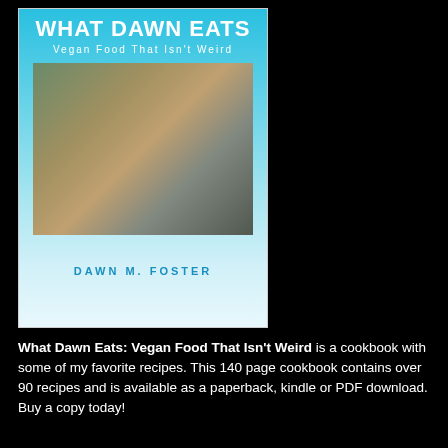[Figure (illustration): Book cover of 'What Dawn Eats: Vegan Food That Isn't Weird' by Dawn M. Foster. Cyan/light blue background with white title text at top, a photo of two people toasting with wine glasses, and the author name at the bottom in blue text.]
What Dawn Eats: Vegan Food That Isn't Weird is a cookbook with some of my favorite recipes. This 140 page cookbook contains over 90 recipes and is available as a paperback, kindle or PDF download. Buy a copy today!
Companies and Communities
[Figure (illustration): Cyan/blue box with white bold text reading 'Companies' (partially visible, cut off at bottom).]